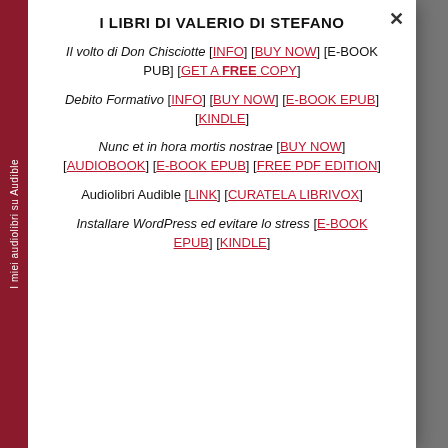I LIBRI DI VALERIO DI STEFANO
Il volto di Don Chisciotte [INFO] [BUY NOW] [E-BOOK PUB] [GET A FREE COPY]
Debito Formativo [INFO] [BUY NOW] [E-BOOK EPUB] [KINDLE]
Nunc et in hora mortis nostrae [BUY NOW] [AUDIOBOOK] [E-BOOK EPUB] [FREE PDF EDITION]
Audiolibri Audible [LINK] [CURATELA LIBRIVOX]
Installare WordPress ed evitare lo stress [E-BOOK EPUB] [KINDLE]